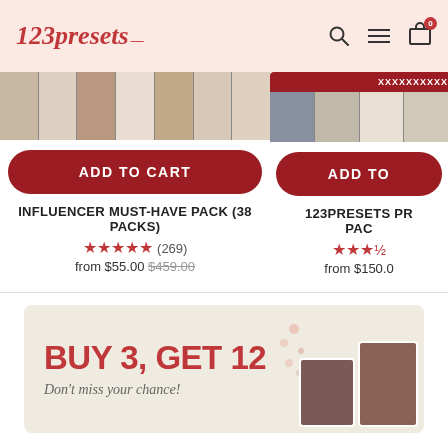123presets
[Figure (screenshot): Product image strips for two preset packs]
ADD TO CART
ADD TO
INFLUENCER MUST-HAVE PACK (38 PACKS)
123PRESETS PR PAC
★★★★★ (269)
from $55.00 $459.00
from $150.0
[Figure (infographic): Banner with BUY 3, GET 12 promotional text and product photos]
BUY 3, GET 12
Don't miss your chance!